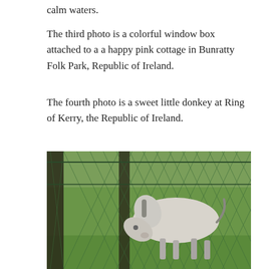calm waters.
The third photo is a colorful window box attached to a a happy pink cottage in Bunratty Folk Park, Republic of Ireland.
The fourth photo is a sweet little donkey at Ring of Kerry, the Republic of Ireland.
[Figure (photo): A white donkey or small horse standing behind a chain-link fence on green grass, viewed from the side with head lowered, photographed at Ring of Kerry, Republic of Ireland.]